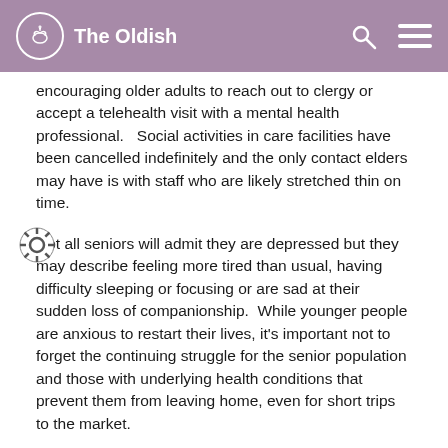The Oldish
encouraging older adults to reach out to clergy or accept a telehealth visit with a mental health professional.   Social activities in care facilities have been cancelled indefinitely and the only contact elders may have is with staff who are likely stretched thin on time.
Not all seniors will admit they are depressed but they may describe feeling more tired than usual, having difficulty sleeping or focusing or are sad at their sudden loss of companionship.  While younger people are anxious to restart their lives, it's important not to forget the continuing struggle for the senior population and those with underlying health conditions that prevent them from leaving home, even for short trips to the market.
According to the National Alliance on Mental Illness, following a daily routine of making your bed, getting dressed, connecting with loved ones, moving your body, practicing good hygiene, prioritizing sleep and getting a nutrition diet can help people feel more in control.